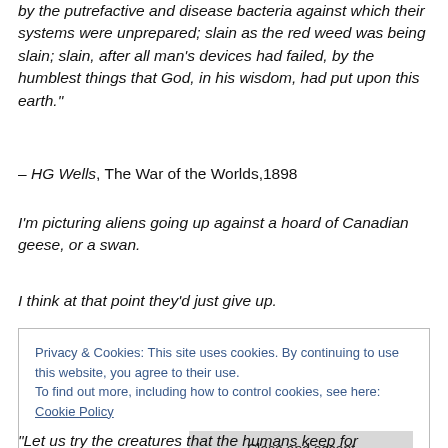by the putrefactive and disease bacteria against which their systems were unprepared; slain as the red weed was being slain; slain, after all man's devices had failed, by the humblest things that God, in his wisdom, had put upon this earth."
– HG Wells, The War of the Worlds,1898
I'm picturing aliens going up against a hoard of Canadian geese, or a swan.
I think at that point they'd just give up.
Privacy & Cookies: This site uses cookies. By continuing to use this website, you agree to their use.
To find out more, including how to control cookies, see here: Cookie Policy
[Close and accept]
"Let us try the creatures that the humans keep for